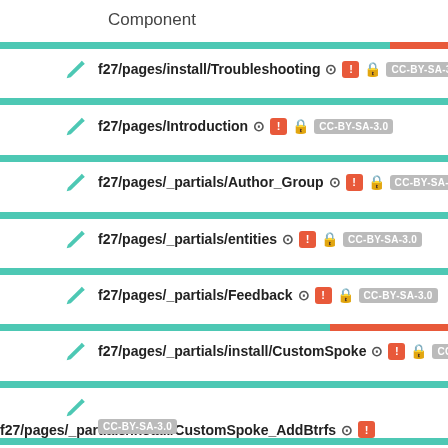Component
f27/pages/install/Troubleshooting CC-BY-SA-3.0
f27/pages/Introduction CC-BY-SA-3.0
f27/pages/_partials/Author_Group CC-BY-SA-3.0
f27/pages/_partials/entities CC-BY-SA-3.0
f27/pages/_partials/Feedback CC-BY-SA-3.0
f27/pages/_partials/install/CustomSpoke CC-BY-SA-3.0
f27/pages/_partials/install/CustomSpoke_AddBtrfs CC-BY-SA-3.0